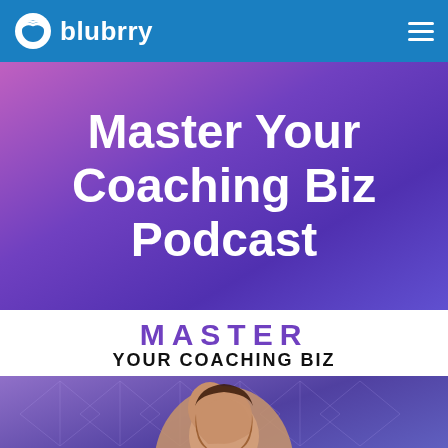blubrry
Master Your Coaching Biz Podcast
[Figure (screenshot): Podcast cover art showing 'MASTER YOUR COACHING BIZ' text with a woman with long brown hair on a purple geometric background]